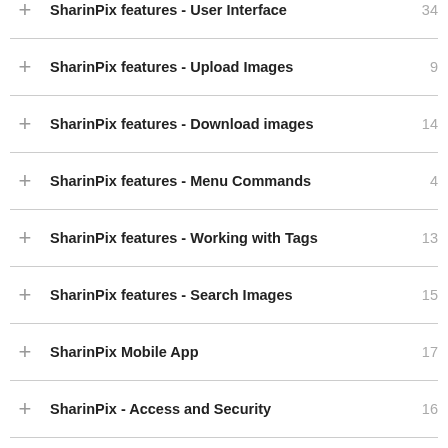SharinPix features - User Interface  34
SharinPix features - Upload Images  9
SharinPix features - Download images  14
SharinPix features - Menu Commands  4
SharinPix features - Working with Tags  13
SharinPix features - Search Images  15
SharinPix Mobile App  17
SharinPix - Access and Security  16
SharinPix Image Sync  13
SharinPix integration - events  6
SharinPix Chatter Feed for Image and Annotation  3